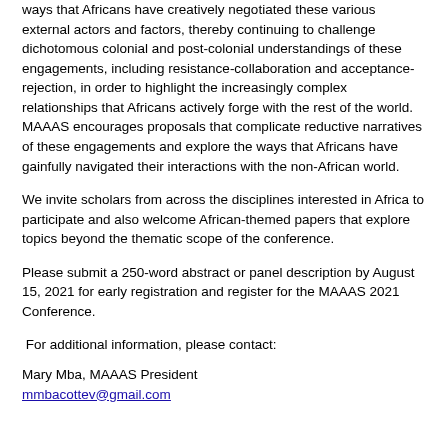ways that Africans have creatively negotiated these various external actors and factors, thereby continuing to challenge dichotomous colonial and post-colonial understandings of these engagements, including resistance-collaboration and acceptance-rejection, in order to highlight the increasingly complex relationships that Africans actively forge with the rest of the world.  MAAAS encourages proposals that complicate reductive narratives of these engagements and explore the ways that Africans have gainfully navigated their interactions with the non-African world.
We invite scholars from across the disciplines interested in Africa to participate and also welcome African-themed papers that explore topics beyond the thematic scope of the conference.
Please submit a 250-word abstract or panel description by August 15, 2021 for early registration and register for the MAAAS 2021 Conference.
For additional information, please contact:
Mary Mba, MAAAS President
mmbacottev@gmail.com